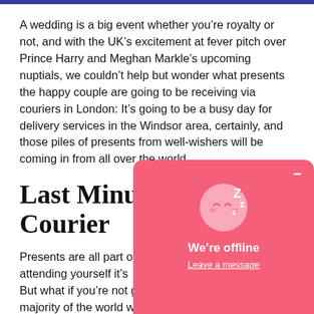A wedding is a big event whether you’re royalty or not, and with the UK’s excitement at fever pitch over Prince Harry and Meghan Markle’s upcoming nuptials, we couldn’t help but wonder what presents the happy couple are going to be receiving via couriers in London: It’s going to be a busy day for delivery services in the Windsor area, certainly, and those piles of presents from well-wishers will be coming in from all over the world.
Last Minute Gift Courier
Presents are all part of attending yourself it’s But what if you’re not g majority of the world w wedding taking place you need to look into a
[Figure (other): Chat widget overlay showing a sleeping face emoji with Zs, 'We’re offline' message, and 'Leave a message' link on a pink/coral background]